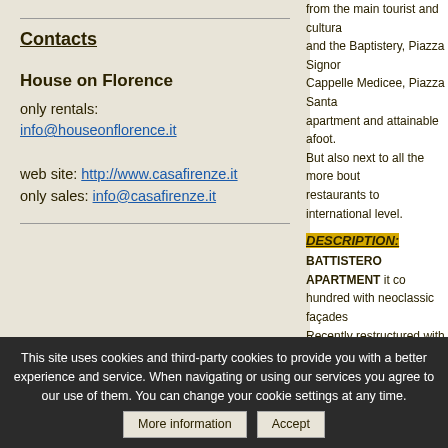Contacts
House on Florence
only rentals:
info@houseonflorence.it

web site: http://www.casafirenze.it
only sales: info@casafirenze.it
from the main tourist and cultural and the Baptistery, Piazza Signor Cappelle Medicee, Piazza Santa apartment and attainable afoot. But also next to all the more bout restaurants to international level.
DESCRIPTION:
BATTISTERO APARTMENT it co hundred with neoclassic façades Recently restructured with a care ceilings to different motives and a about history and charm. BATTISTERO APARMENT it has bedrooms and 2 bathroom with as
FURNISHINGS AND OPTIONALS
- entrance
- double living room (with window with chairs
- large kitchen: sink, plain cooking NESPRESSO coffee machine wit
- 1st double bed room : matrimon
- 2nd double bed room: two single
- bathroom: washbasin, bidet, toil
- other bathroom: washbasin, bide
- washing machine, drier, hair dr
This site uses cookies and third-party cookies to provide you with a better experience and service. When navigating or using our services you agree to our use of them. You can change your cookie settings at any time.
More information | Accept